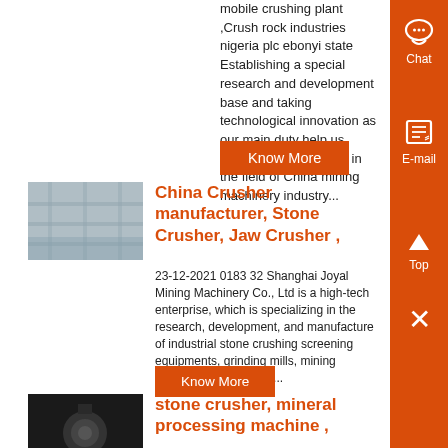mobile crushing plant ,Crush rock industries nigeria plc ebonyi state Establishing a special research and development base and taking technological innovation as our main duty help us always taking the lead in the field of China mining machinery industry...
Know More
[Figure (photo): Interior of an industrial factory or crushing plant facility, showing large machinery and structural elements in a wide hall]
China Crusher manufacturer, Stone Crusher, Jaw Crusher ,
23-12-2021 0183 32 Shanghai Joyal Mining Machinery Co., Ltd is a high-tech enterprise, which is specializing in the research, development, and manufacture of industrial stone crushing screening equipments, grinding mills, mining equipments and so on...
Know More
[Figure (photo): Close-up of a dark industrial bolt or mechanical component against a black background]
stone crusher, mineral processing machine ,